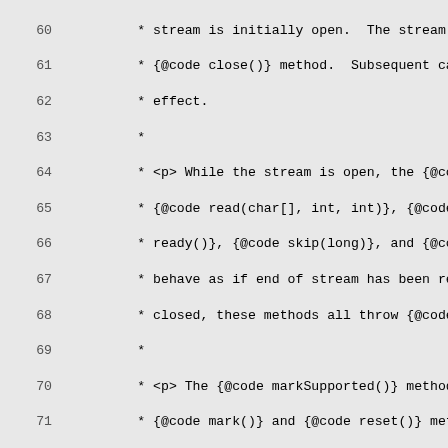Source code listing lines 60-89 showing Java Reader nullReader() method documentation and implementation
60     * stream is initially open.  The stream is clos
61     * {@code close()} method.  Subsequent calls to
62     * effect.
63     *
64     * <p> While the stream is open, the {@code read
65     * {@code read(char[], int, int)}, {@code read(
66     * ready()}, {@code skip(long)}, and {@code tran
67     * behave as if end of stream has been reached.
68     * closed, these methods all throw {@code IOExce
69     *
70     * <p> The {@code markSupported()} method return
71     * {@code mark()} and {@code reset()} methods th
72     *
73     * <p> The {@link #lock object} used to synchron
74     * returned {@code Reader} is not specified.
75     *
76     * @return a {@code Reader} which reads no chara
77     *
78     * @since 11
79     */
80     public static Reader nullReader() {
81         return new Reader() {
82             private volatile boolean closed;
83
84             private void ensureOpen() throws IOExcep
85                 if (closed) {
86                     throw new IOException("Stream cl
87                 }
88         }
89